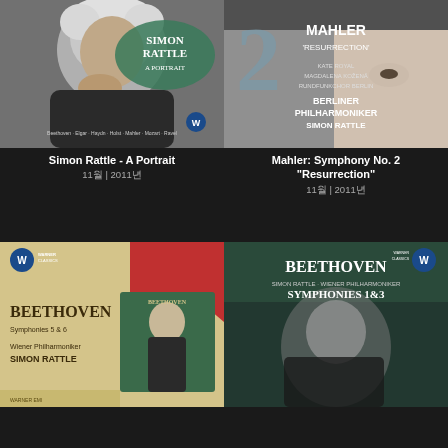[Figure (photo): Album cover: Simon Rattle - A Portrait, black and white photo of Simon Rattle with curly hair, text overlay showing Simon Rattle A Portrait, Beethoven Elgar Haydn Holst Mahler Mozart Ravel, Warner Classics logo]
Simon Rattle - A Portrait
11월 | 2011년
[Figure (photo): Album cover: Mahler Symphony No. 2 Resurrection, close-up black and white photo of Simon Rattle's face, text: Mahler Resurrection 2, Kate Royal, Magdalena Kožená, Rundfunkchor Berlin, Berliner Philharmoniker, Simon Rattle]
Mahler: Symphony No. 2 "Resurrection"
11월 | 2011년
[Figure (photo): Album cover: Beethoven Symphonies 5 and 6, Wiener Philharmoniker, Simon Rattle, beige/cream and red background with Warner Classics logo, conductor photo inset on green background]
[Figure (photo): Album cover: Beethoven Symphonies 1 and 3, Simon Rattle Wiener Philharmoniker, dark green background with black and white photo of Simon Rattle, Warner Classics logo]